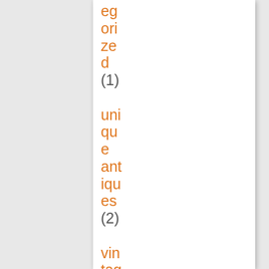egorized (1) unique antiques (2) vintage signs (8) wo